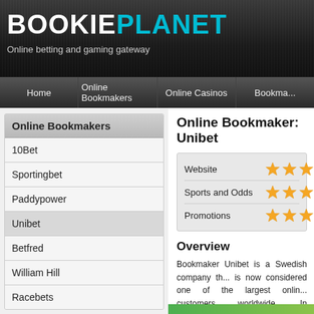BOOKIEPLANET - Online betting and gaming gateway
Home | Online Bookmakers | Online Casinos | Bookma...
Online Bookmakers
10Bet
Sportingbet
Paddypower
Unibet
Betfred
William Hill
Racebets
Online Casinos
Online Bookmaker: Unibet
| Category | Rating |
| --- | --- |
| Website | 4.5/5 stars |
| Sports and Odds | 4.5/5 stars |
| Promotions | 4/5 stars |
Overview
Bookmaker Unibet is a Swedish company th... is now considered one of the largest onlin... customers worldwide. In December 2007, ... online bingo operator in the Nordic market. A... quality gambling products, Unibet has been v... year 3 times with the last one being a do... Gaming Operator of the Year for their new Liv...